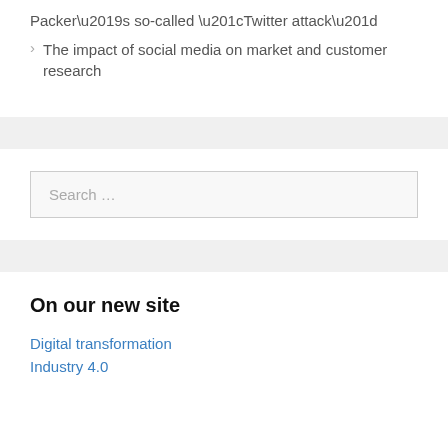Packer’s so-called “Twitter attack”
The impact of social media on market and customer research
Search …
On our new site
Digital transformation
Industry 4.0